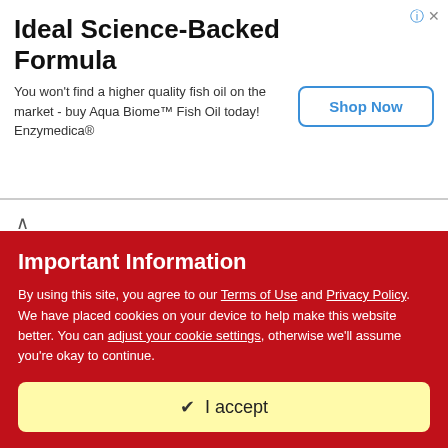[Figure (infographic): Advertisement banner for Aqua Biome Fish Oil by Enzymedica with a Shop Now button]
5 STEPS IN PREPARING ESSAYS FOR...
By EthelCole · Posted Friday at 01:28 PM
Standardized tests and academic performance are critical because they can determine your future career success. I've experienced this and want to improve. Now I'm working on a thesis,
Important Information
By using this site, you agree to our Terms of Use and Privacy Policy. We have placed cookies on your device to help make this website better. You can adjust your cookie settings, otherwise we'll assume you're okay to continue.
✔  I accept